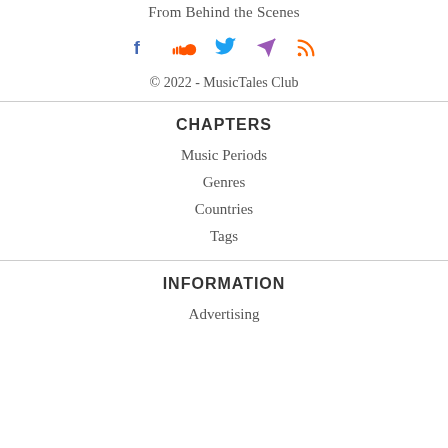From Behind the Scenes
[Figure (other): Social media icons: Facebook (blue), SoundCloud (orange), Twitter (blue), Telegram (purple), RSS (orange)]
© 2022 - MusicTales Club
CHAPTERS
Music Periods
Genres
Countries
Tags
INFORMATION
Advertising